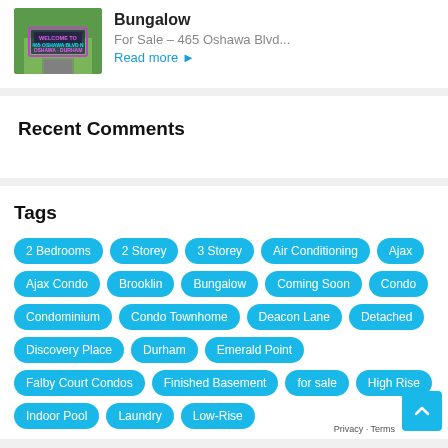[Figure (photo): Thumbnail image of a sign reading 'Welcome to 465 Oshawa Blvd N Oshawa - Durham' on a green lawn background]
Bungalow
For Sale – 465 Oshawa Blvd...
Read more ▶
Recent Comments
Tags
2 Bedrooms
2 Storey
3 Storey
Air Conditioning
Ajax
Ajax Condo
Brooklin
Bungalow
Coming Soon
Condo
Condominium
Condo Townhome
Deacon Lane
Detached
Discovery Place
Durham
Emerald Point
Falby Court Condos
Finished Basement
for sale
High Rise
Indoor Pool
Laundry
Low-Rise